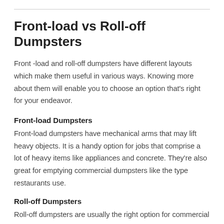Front-load vs Roll-off Dumpsters
Front -load and roll-off dumpsters have different layouts which make them useful in various ways. Knowing more about them will enable you to choose an option that's right for your endeavor.
Front-load Dumpsters
Front-load dumpsters have mechanical arms that may lift heavy objects. It is a handy option for jobs that comprise a lot of heavy items like appliances and concrete. They're also great for emptying commercial dumpsters like the type restaurants use.
Roll-off Dumpsters
Roll-off dumpsters are usually the right option for commercial and residential jobs like fixing a roof, remodeling a basement, or adding a room to your home. They have doors that swing open, allowing you to walk into the dumpster. In addition they have open